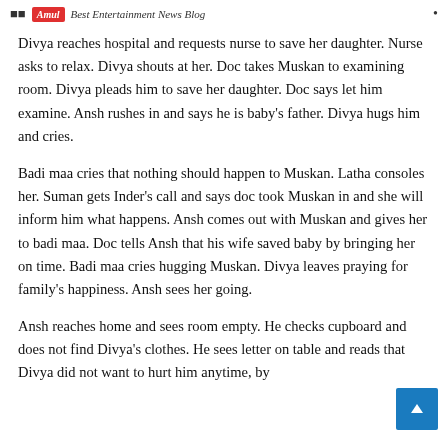Amul Best Entertainment News Blog
Divya reaches hospital and requests nurse to save her daughter. Nurse asks to relax. Divya shouts at her. Doc takes Muskan to examining room. Divya pleads him to save her daughter. Doc says let him examine. Ansh rushes in and says he is baby's father. Divya hugs him and cries.
Badi maa cries that nothing should happen to Muskan. Latha consoles her. Suman gets Inder’s call and says doc took Muskan in and she will inform him what happens. Ansh comes out with Muskan and gives her to badi maa. Doc tells Ansh that his wife saved baby by bringing her on time. Badi maa cries hugging Muskan. Divya leaves praying for family’s happiness. Ansh sees her going.
Ansh reaches home and sees room empty. He checks cupboard and does not find Divya’s clothes. He sees letter on table and reads that Divya did not want to hurt him anytime, by